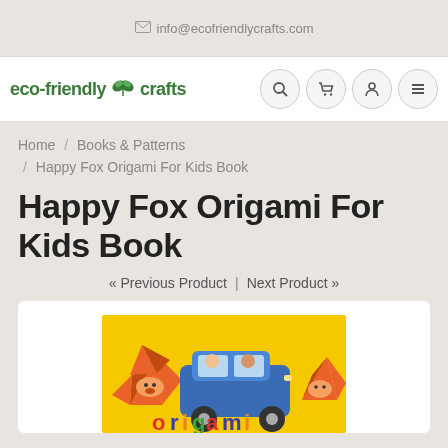info@ecofriendlycrafts.com
[Figure (logo): eco-friendly crafts logo with butterfly icon in green, with navigation icons (search, cart, account, menu)]
Home / Books & Patterns / Happy Fox Origami For Kids Book
Happy Fox Origami For Kids Book
« Previous Product | Next Product »
[Figure (photo): Book cover of Happy Fox Origami For Kids Book on yellow background with origami fox and blue car]